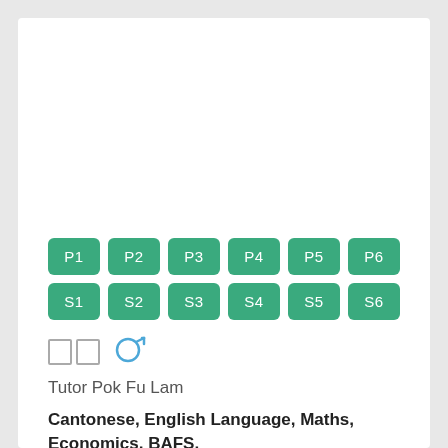[Figure (other): Grid of green grade-level buttons: P1 P2 P3 P4 P5 P6 on top row, S1 S2 S3 S4 S5 S6 on bottom row]
□□ ♂
Tutor Pok Fu Lam
Cantonese, English Language, Maths, Economics, BAFS, Social Sciences